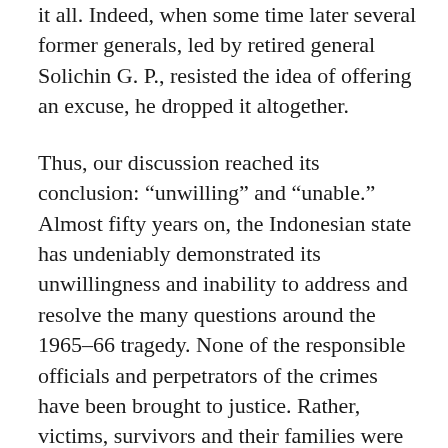it all. Indeed, when some time later several former generals, led by retired general Solichin G. P., resisted the idea of offering an excuse, he dropped it altogether.
Thus, our discussion reached its conclusion: “unwilling” and “unable.” Almost fifty years on, the Indonesian state has undeniably demonstrated its unwillingness and inability to address and resolve the many questions around the 1965–66 tragedy. None of the responsible officials and perpetrators of the crimes have been brought to justice. Rather, victims, survivors and their families were held to be responsible for their own misfortune by having called down upon themselves the deaths, their physical and mental suffering, the stigma, and their social, political and economic